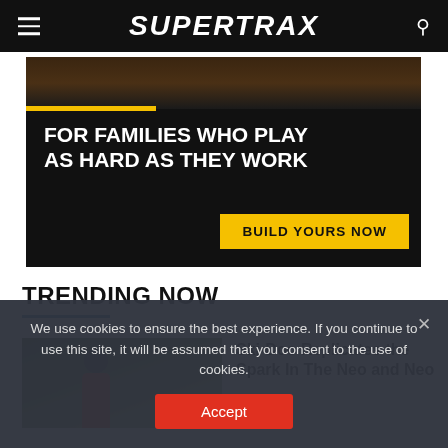SUPERTRAX
[Figure (photo): Advertisement banner with dark background, showing snowmobile lifestyle imagery. Text reads 'FOR FAMILIES WHO PLAY AS HARD AS THEY WORK' with a yellow 'BUILD YOURS NOW' call-to-action button.]
TRENDING NOW
[Figure (photo): Thumbnail image of a snowmobile rider in trees/forest setting, wearing red gear]
Ski-Doo Replicates the Spark In The Neo and Neo
We use cookies to ensure the best experience. If you continue to use this site, it will be assumed that you consent to the use of cookies.